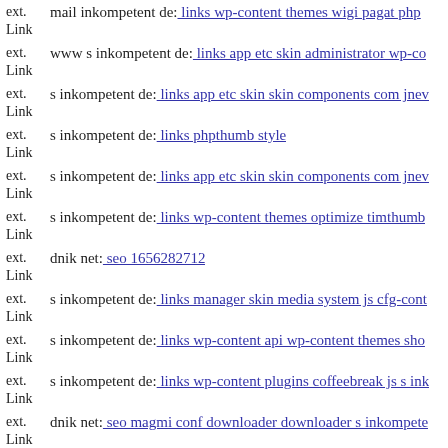ext. Link mail inkompetent de: links wp-content themes wigi pagat php
ext. Link www s inkompetent de: links app etc skin administrator wp-co…
ext. Link s inkompetent de: links app etc skin skin components com jnew…
ext. Link s inkompetent de: links phpthumb style
ext. Link s inkompetent de: links app etc skin skin components com jnew…
ext. Link s inkompetent de: links wp-content themes optimize timthumb…
ext. Link dnik net: seo 1656282712
ext. Link s inkompetent de: links manager skin media system js cfg-cont…
ext. Link s inkompetent de: links wp-content api wp-content themes sho…
ext. Link s inkompetent de: links wp-content plugins coffeebreak js s ink…
ext. Link dnik net: seo magmi conf downloader downloader s inkompete…